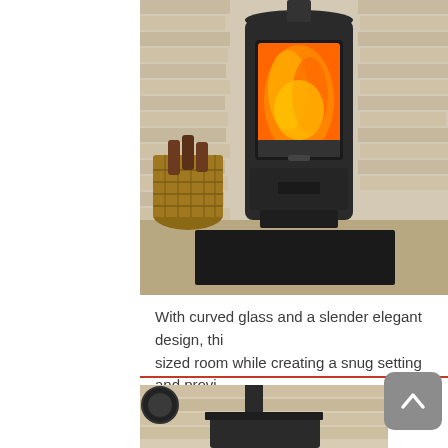[Figure (photo): A modern black wood-burning stove with curved glass door, flames visible, set against a light stone/brick wall background, with a wicker basket of firewood to the left, on a dark hearth pad]
With curved glass and a slender elegant design, this stove suits a medium-sized room while creating a snug setting and providing...
[Figure (photo): A black rectangular wood-burning stove with a smaller glass viewing window showing flames, mounted against a light stone/brick wall with a black stovepipe going upward, with a circular element visible on the left]